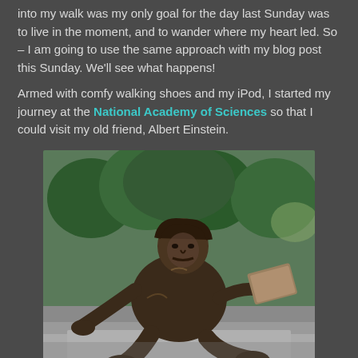into my walk was my only goal for the day last Sunday was to live in the moment, and to wander where my heart led. So – I am going to use the same approach with my blog post this Sunday. We'll see what happens!
Armed with comfy walking shoes and my iPod, I started my journey at the National Academy of Sciences so that I could visit my old friend, Albert Einstein.
[Figure (photo): Bronze statue of Albert Einstein seated casually on stone steps, holding papers/books, with trees in the background. Located at the National Academy of Sciences memorial.]